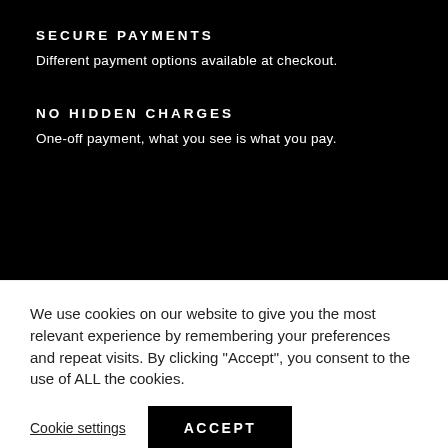SECURE PAYMENTS
Different payment options available at checkout.
NO HIDDEN CHARGES
One-off payment, what you see is what you pay.
FAQ
CONTACT
COOKIE POLICY
PRIVACY POLICY
We use cookies on our website to give you the most relevant experience by remembering your preferences and repeat visits. By clicking “Accept”, you consent to the use of ALL the cookies.
Cookie settings
ACCEPT